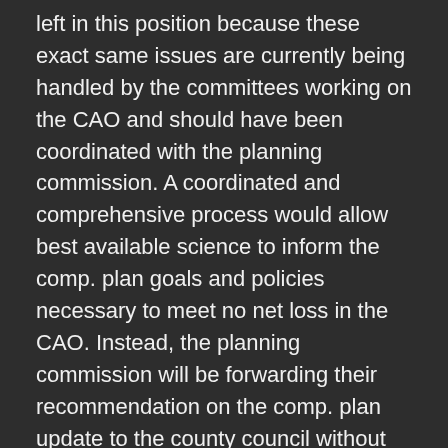left in this position because these exact same issues are currently being handled by the committees working on the CAO and should have been coordinated with the planning commission. A coordinated and comprehensive process would allow best available science to inform the comp. plan goals and policies necessary to meet no net loss in the CAO. Instead, the planning commission will be forwarding their recommendation on the comp. plan update to the county council without any review or understanding of the revisions to the CAO.
This type of piece meal, uncoordinated review does ensure the best possible planning, but it is more likely to allow development and growth since the